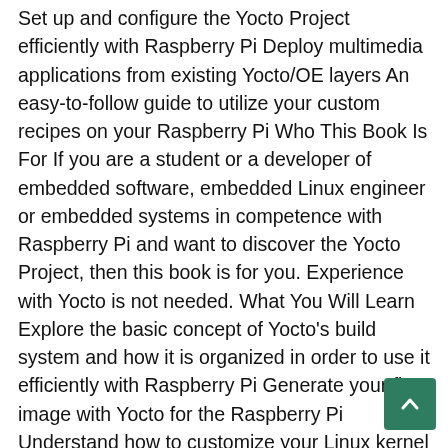Set up and configure the Yocto Project efficiently with Raspberry Pi Deploy multimedia applications from existing Yocto/OE layers An easy-to-follow guide to utilize your custom recipes on your Raspberry Pi Who This Book Is For If you are a student or a developer of embedded software, embedded Linux engineer or embedded systems in competence with Raspberry Pi and want to discover the Yocto Project, then this book is for you. Experience with Yocto is not needed. What You Will Learn Explore the basic concept of Yocto's build system and how it is organized in order to use it efficiently with Raspberry Pi Generate your first image with Yocto for the Raspberry Pi Understand how to customize your Linux kernel within the Yocto Project Customize your image in order to integrate your own applications Write your own recipes for your graphical applications Integrate a custom layer for the Raspberry Pi In Detail The Yocto Project is a Linux